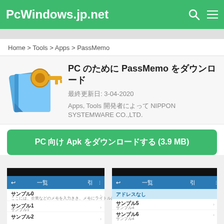PcWindows.jp.net
Home > Tools > Apps > PassMemo
PC のために PassMemo をダウンロード
最終更新日: 3-04-2020
Apps, Tools 開発者によって NIPPON SYSTEMWARE CO.,LTD.
PC 向け Apk をダウンロードする (3.9 MB)
[Figure (screenshot): Two screenshots of the PassMemo app on Android showing a list of sample password entries including サンプル0, サンプル1, サンプル2 in one panel and アドレスなし, サンプル5, サンプル6 in the second panel.]